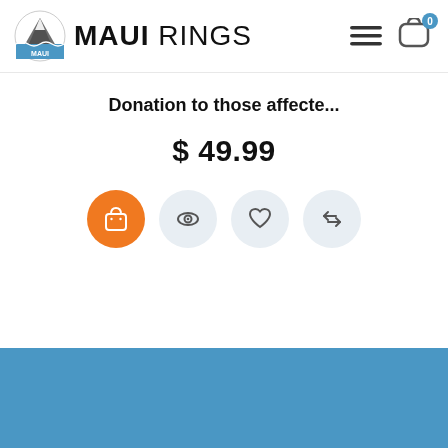[Figure (logo): Maui Rings logo with mountain/wave circular emblem and bold brand name text]
Donation to those affecte...
$ 49.99
[Figure (infographic): Four circular action buttons: orange shopping bag, light blue eye/view, light blue heart/wishlist, light blue compare arrows]